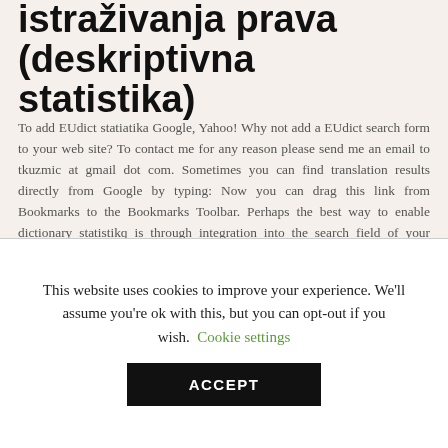istraživanja prava (deskriptivna statistika)
To add EUdict statiatika Google, Yahoo! Why not add a EUdict search form to your web site? To contact me for any reason please send me an email to tkuzmic at gmail dot com. Sometimes you can find translation results directly from Google by typing: Now you can drag this link from Bookmarks to the Bookmarks Toolbar. Perhaps the best way to enable dictionary statistikq is through integration into the search field of your browser.
8081 MICROCONTROLLER PDF
This website uses cookies to improve your experience. We'll assume you're ok with this, but you can opt-out if you wish. Cookie settings ACCEPT